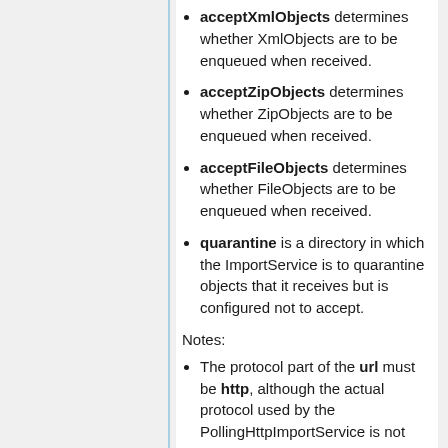acceptXmlObjects determines whether XmlObjects are to be enqueued when received.
acceptZipObjects determines whether ZipObjects are to be enqueued when received.
acceptFileObjects determines whether FileObjects are to be enqueued when received.
quarantine is a directory in which the ImportService is to quarantine objects that it receives but is configured not to accept.
Notes:
The protocol part of the url must be http, although the actual protocol used by the PollingHttpImportService is not HTTP.
The PollingHttpImportService does